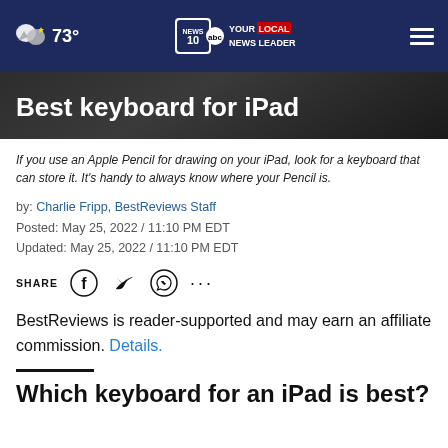73° | NEWS 10 ABC YOUR LOCAL NEWS LEADER | Menu
Best keyboard for iPad
If you use an Apple Pencil for drawing on your iPad, look for a keyboard that can store it. It's handy to always know where your Pencil is.
by: Charlie Fripp, BestReviews Staff
Posted: May 25, 2022 / 11:10 PM EDT
Updated: May 25, 2022 / 11:10 PM EDT
SHARE [Facebook] [Twitter] [WhatsApp] [...]
BestReviews is reader-supported and may earn an affiliate commission. Details.
Which keyboard for an iPad is best?